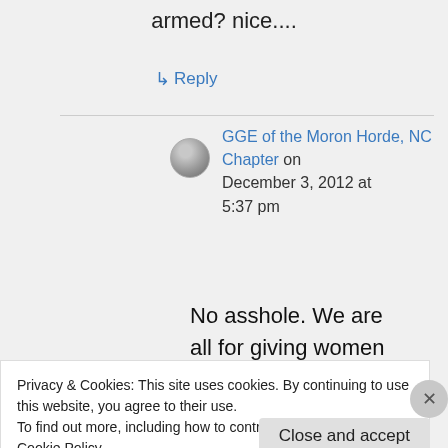armed? nice....
↳ Reply
GGE of the Moron Horde, NC Chapter on December 3, 2012 at 5:37 pm
No asshole. We are all for giving women
Privacy & Cookies: This site uses cookies. By continuing to use this website, you agree to their use. To find out more, including how to control cookies, see here: Cookie Policy